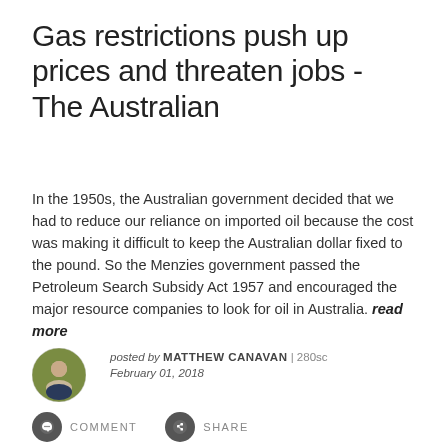Gas restrictions push up prices and threaten jobs - The Australian
In the 1950s, the Australian government decided that we had to reduce our reliance on imported oil because the cost was making it difficult to keep the Australian dollar fixed to the pound. So the Menzies government passed the Petroleum Search Subsidy Act 1957 and encouraged the major resource companies to look for oil in Australia. read more
[Figure (photo): Circular avatar photo of Matthew Canavan]
posted by MATTHEW CANAVAN | 280sc
February 01, 2018
COMMENT   SHARE